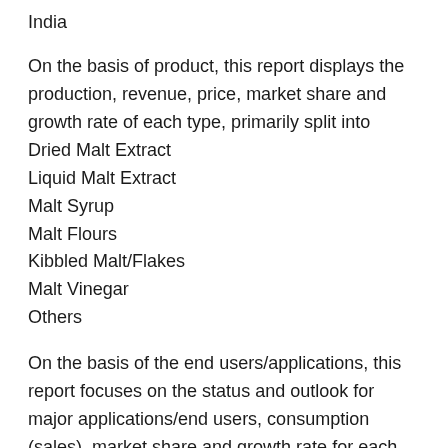India
On the basis of product, this report displays the production, revenue, price, market share and growth rate of each type, primarily split into
Dried Malt Extract
Liquid Malt Extract
Malt Syrup
Malt Flours
Kibbled Malt/Flakes
Malt Vinegar
Others
On the basis of the end users/applications, this report focuses on the status and outlook for major applications/end users, consumption (sales), market share and growth rate for each application,